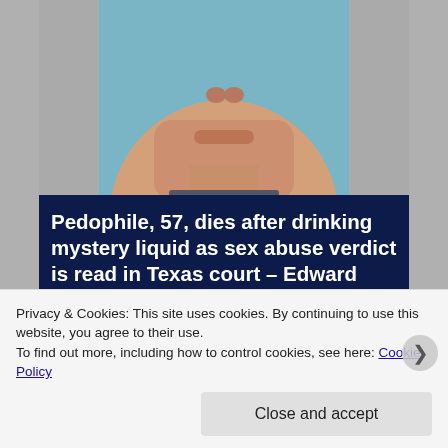[Figure (photo): Partial face photo of a man (lower half of face, neck, blue background) — mugshot style]
Pedophile, 57, dies after drinking mystery liquid as sex abuse verdict is read in Texas court – Edward LeClair was found guilty of five counts of child sexual
Privacy & Cookies: This site uses cookies. By continuing to use this website, you agree to their use.
To find out more, including how to control cookies, see here: Cookie Policy
Close and accept